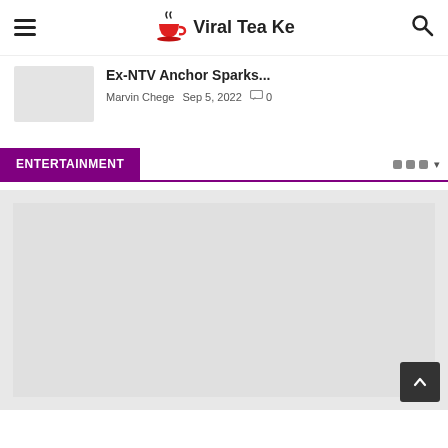Viral Tea Ke
Ex-NTV Anchor Sparks...
Marvin Chege  Sep 5, 2022  0
ENTERTAINMENT
[Figure (photo): Featured article image placeholder — large light gray rectangle representing a loading or placeholder image for an entertainment article]